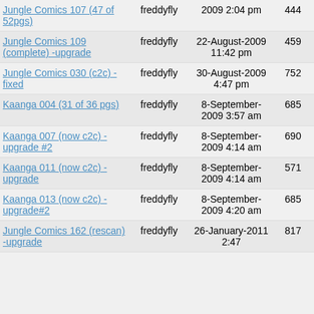| Title | User | Date | Views | Replies |
| --- | --- | --- | --- | --- |
| Jungle Comics 107 (47 of 52pgs) | freddyfly | 2009 2:04 pm | 444 | 1 |
| Jungle Comics 109 (complete) -upgrade | freddyfly | 22-August-2009 11:42 pm | 459 | 0 |
| Jungle Comics 030 (c2c) -fixed | freddyfly | 30-August-2009 4:47 pm | 752 | 0 |
| Kaanga 004 (31 of 36 pgs) | freddyfly | 8-September-2009 3:57 am | 685 | 0 |
| Kaanga 007 (now c2c) -upgrade #2 | freddyfly | 8-September-2009 4:14 am | 690 | 0 |
| Kaanga 011 (now c2c) -upgrade | freddyfly | 8-September-2009 4:14 am | 571 | 0 |
| Kaanga 013 (now c2c) -upgrade#2 | freddyfly | 8-September-2009 4:20 am | 685 | 0 |
| Jungle Comics 162 (rescan) -upgrade | freddyfly | 26-January-2011 2:47 | 817 | 0 |